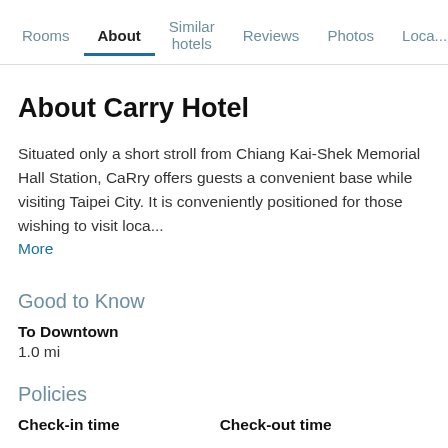Rooms | About | Similar hotels | Reviews | Photos | Loca...
About Carry Hotel
Situated only a short stroll from Chiang Kai-Shek Memorial Hall Station, CaRry offers guests a convenient base while visiting Taipei City. It is conveniently positioned for those wishing to visit loca...
More
Good to Know
To Downtown
1.0 mi
Policies
Check-in time
Check-out time